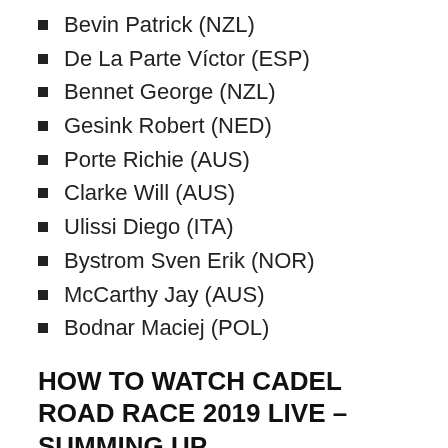Bevin Patrick (NZL)
De La Parte Víctor (ESP)
Bennet George (NZL)
Gesink Robert (NED)
Porte Richie (AUS)
Clarke Will (AUS)
Ulissi Diego (ITA)
Bystrom Sven Erik (NOR)
McCarthy Jay (AUS)
Bodnar Maciej (POL)
HOW TO WATCH CADEL ROAD RACE 2019 LIVE – SUMMING UP
The 2019 WorldTour continues with the Cadel Evans Great Ocean Road Race in Australia on Sunday,